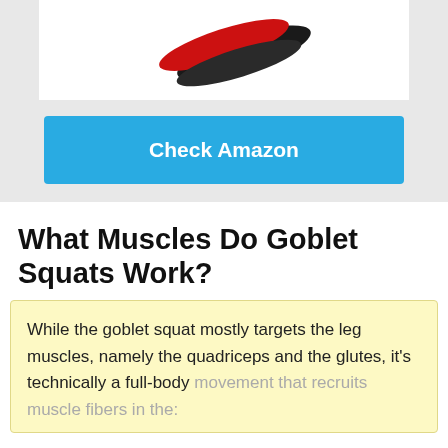[Figure (photo): Product image showing red and black resistance bands stacked together, partially visible at top of page]
Check Amazon
What Muscles Do Goblet Squats Work?
While the goblet squat mostly targets the leg muscles, namely the quadriceps and the glutes, it's technically a full-body movement that recruits muscle fibers in the: